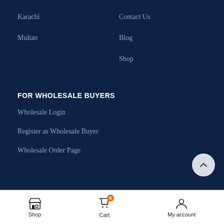Karachi
Multan
Contact Us
Blog
Shop
FOR WHOLESALE BUYERS
Wholesale Login
Register as Wholesale Buyer
Wholesale Order Page
Shop  Cart (0)  My account